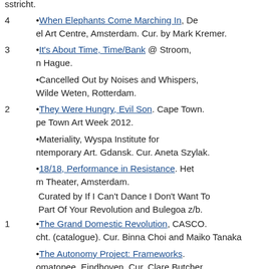stricht.
4  •When Elephants Come Marching In, De el Art Centre, Amsterdam. Cur. by Mark Kremer.
3  •It's About Time, Time/Bank @ Stroom, Hague.
•Cancelled Out by Noises and Whispers,  Wilde Weten, Rotterdam.
2  •They Were Hungry, Evil Son. Cape Town. e Town Art Week 2012.
•Materiality, Wyspa Institute for temporary Art. Gdansk. Cur. Aneta Szylak.
•18/18, Performance in Resistance. Het m Theater, Amsterdam.
Curated by If I Can't Dance I Don't Want To Part Of Your Revolution and Bulegoa z/b.
1  •The Grand Domestic Revolution, CASCO. cht. (catalogue). Cur. Binna Choi and Maiko Tanaka
•The Autonomy Project: Frameworks. matopee. Eindhoven. Cur. Clare Butcher